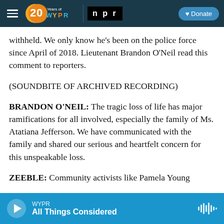[Figure (screenshot): WYPR 20 Years navigation bar with hamburger menu, WYPR 20th anniversary logo, NPR logo, and Donate button]
withheld. We only know he's been on the police force since April of 2018. Lieutenant Brandon O'Neil read this comment to reporters.
(SOUNDBITE OF ARCHIVED RECORDING)
BRANDON O'NEIL: The tragic loss of life has major ramifications for all involved, especially the family of Ms. Atatiana Jefferson. We have communicated with the family and shared our serious and heartfelt concern for this unspeakable loss.
ZEEBLE: Community activists like Pamela Young
[Figure (screenshot): Audio player bar showing WYPR All Things Considered with play button and waveform icon]